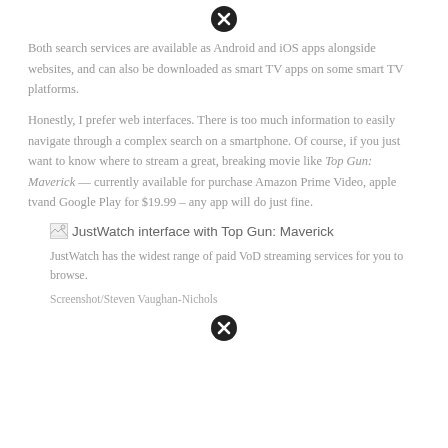Both search services are available as Android and iOS apps alongside websites, and can also be downloaded as smart TV apps on some smart TV platforms.
Honestly, I prefer web interfaces. There is too much information to easily navigate through a complex search on a smartphone. Of course, if you just want to know where to stream a great, breaking movie like Top Gun: Maverick — currently available for purchase Amazon Prime Video, apple tvand Google Play for $19.99 – any app will do just fine.
[Figure (screenshot): JustWatch interface with Top Gun: Maverick — broken image placeholder with alt text visible]
JustWatch has the widest range of paid VoD streaming services for you to browse.
Screenshot/Steven Vaughan-Nichols